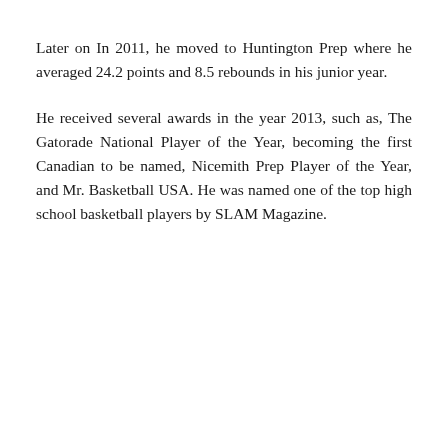Later on In 2011, he moved to Huntington Prep where he averaged 24.2 points and 8.5 rebounds in his junior year.
He received several awards in the year 2013, such as, The Gatorade National Player of the Year, becoming the first Canadian to be named, Nicemith Prep Player of the Year, and Mr. Basketball USA. He was named one of the top high school basketball players by SLAM Magazine.